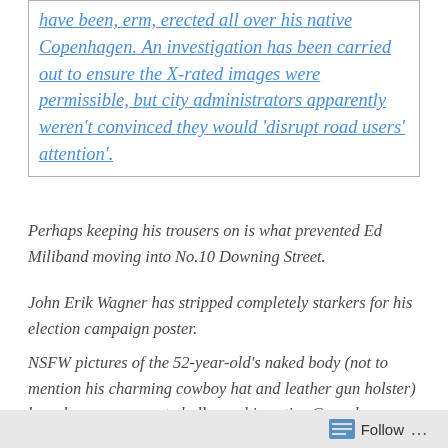have been, erm, erected all over his native Copenhagen. An investigation has been carried out to ensure the X-rated images were permissible, but city administrators apparently weren't convinced they would 'disrupt road users' attention'.
Perhaps keeping his trousers on is what prevented Ed Miliband moving into No.10 Downing Street.
John Erik Wagner has stripped completely starkers for his election campaign poster.
NSFW pictures of the 52-year-old's naked body (not to mention his charming cowboy hat and leather gun holster) have been, erm, erected all over his native Copenhagen.
An investigation has been carried out to ensure the X-rated images were permissible, but city administrators apparently weren't convinced they would 'disrupt road users' attention'.
Some where deep inside John Erik Wagners's brain he thinks this is a good idea and really i cant think of any real reason why its bad. for a 52 year old man, dudes in shape. I mean
Follow